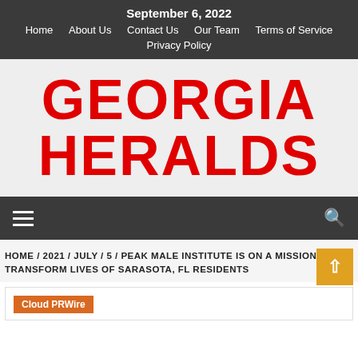September 6, 2022 | Home | About Us | Contact Us | Our Team | Terms of Service | Privacy Policy
GEORGIA HERALDS
Navigation menu | Search
HOME / 2021 / JULY / 5 / PEAK MALE INSTITUTE IS ON A MISSION TO TRANSFORM LIVES OF SARASOTA, FL RESIDENTS
Cloud PRWire